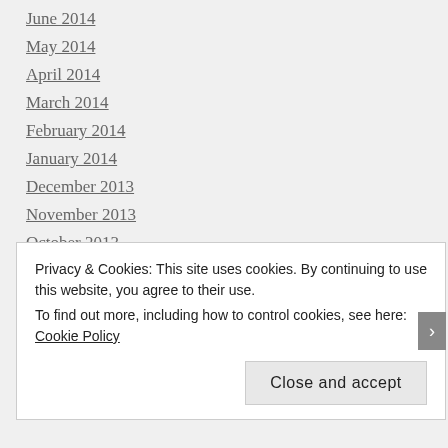June 2014
May 2014
April 2014
March 2014
February 2014
January 2014
December 2013
November 2013
October 2013
September 2013
August 2013
July 2013
Privacy & Cookies: This site uses cookies. By continuing to use this website, you agree to their use.
To find out more, including how to control cookies, see here: Cookie Policy
Close and accept